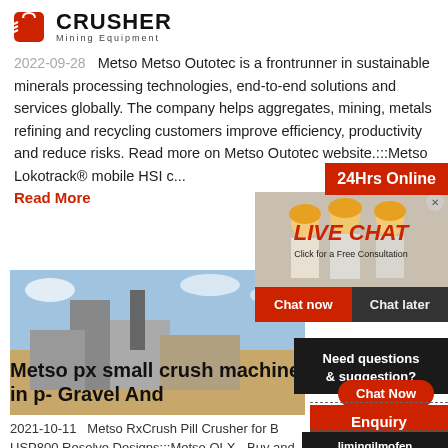[Figure (logo): Crusher Mining Equipment logo with red shopping bag icon and bold CRUSHER text]
2022-09-28   Metso Metso Outotec is a frontrunner in sustainable minerals processing technologies, end-to-end solutions and services globally. The company helps aggregates, mining, metals refining and recycling customers improve efficiency, productivity and reduce risks. Read more on Metso Outotec website.:::Metso Lokotrack® mobile HSI c...
Read More
[Figure (photo): Industrial crusher machinery on a construction site]
[Figure (photo): Live Chat popup with workers in hard hats and a customer service agent with headset. Shows LIVE CHAT Click for a Free Consultation. Chat now and Chat later buttons.]
24Hrs Online
Need questions & suggestion?
Chat Now
Enquiry
limingjlmofen@sina.com
Metso px small crush machine in p- Gravel And
2021-10-11   Metso RxCrush Pill Crusher for B USP800 Resolve Designs:::Metso OLX - Buy and